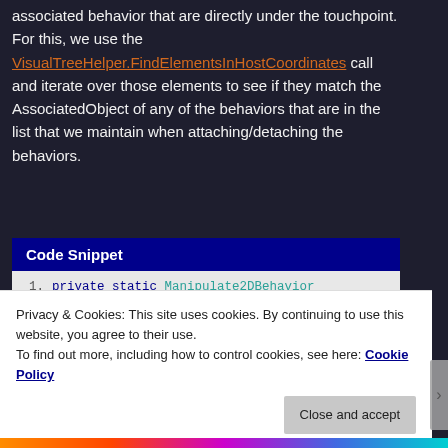associated behavior that are directly under the touchpoint. For this, we use the VisualTreeHelper.FindElementsInHostCoordinates call and iterate over those elements to see if they match the AssociatedObject of any of the behaviors that are in the list that we maintain when attaching/detaching the behaviors.
Code Snippet
1. private static Manipulate2DBehavior GetBehaviorAssociatedWithTouchPoint(P touchPointPosition, IEnumerable<Manipulate2DBehavior> behaviorsToCheck)
2. {
Privacy & Cookies: This site uses cookies. By continuing to use this website, you agree to their use.
To find out more, including how to control cookies, see here: Cookie Policy